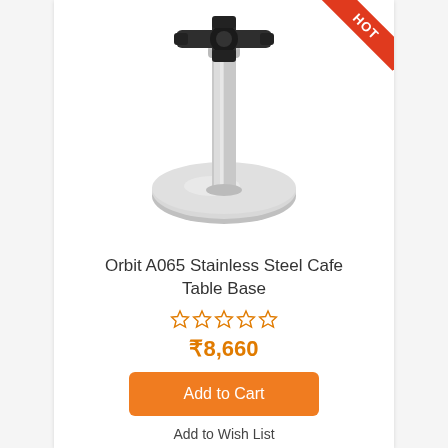[Figure (photo): Stainless steel cafe table base (Orbit A065) with a circular disc base, cylindrical column, and a black cross-shaped top mount. HOT badge in upper right corner.]
Orbit A065 Stainless Steel Cafe Table Base
★★★★★ (empty stars / no rating)
₹8,660
Add to Cart
Add to Wish List
Add to Compare